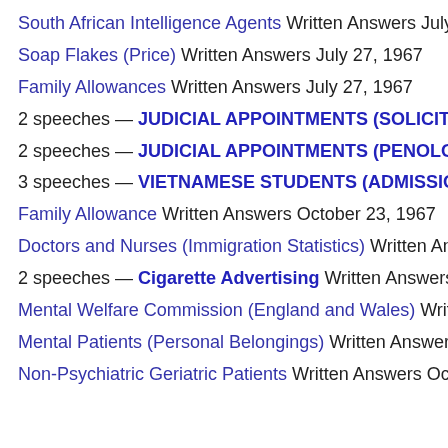South African Intelligence Agents Written Answers July 27, 196…
Soap Flakes (Price) Written Answers July 27, 1967
Family Allowances Written Answers July 27, 1967
2 speeches — JUDICIAL APPOINTMENTS (SOLICITORS) C…
2 speeches — JUDICIAL APPOINTMENTS (PENOLOGICAL…
3 speeches — VIETNAMESE STUDENTS (ADMISSION) Con…
Family Allowance Written Answers October 23, 1967
Doctors and Nurses (Immigration Statistics) Written Answers O…
2 speeches — Cigarette Advertising Written Answers Octobe…
Mental Welfare Commission (England and Wales) Written Ans…
Mental Patients (Personal Belongings) Written Answers Octob…
Non-Psychiatric Geriatric Patients Written Answers October 23…